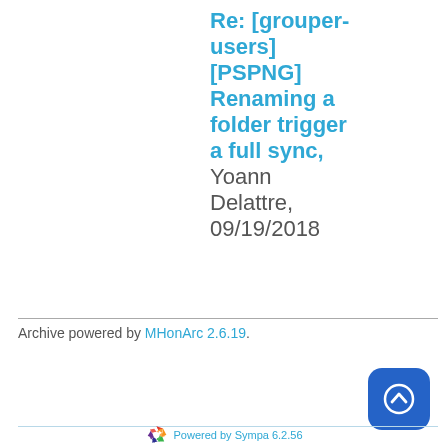Re: [grouper-users] [PSPNG] Renaming a folder trigger a full sync, Yoann Delattre, 09/19/2018
Archive powered by MHonArc 2.6.19.
Powered by Sympa 6.2.56